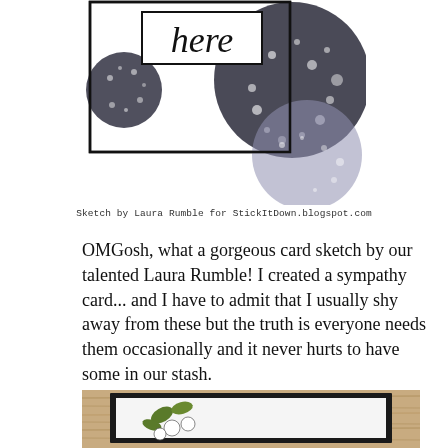[Figure (illustration): Card sketch showing a rectangular card layout with 'here' text in a box and large circular splatter/blob shapes in black and grey]
Sketch by Laura Rumble for StickItDown.blogspot.com
OMGosh, what a gorgeous card sketch by our talented Laura Rumble! I created a sympathy card... and I have to admit that I usually shy away from these but the truth is everyone needs them occasionally and it never hurts to have some in our stash.
[Figure (photo): Photo of a handmade sympathy card with floral (dogwood flowers and green leaves) stamped design on white card stock, mounted on dark/black mat, placed on a rustic wood background]